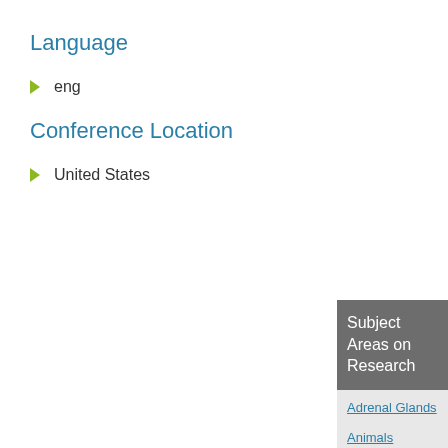Language
eng
Conference Location
United States
Subject Areas on Research
Adrenal Glands
Animals
Antigens, Polyomavirus Transforming